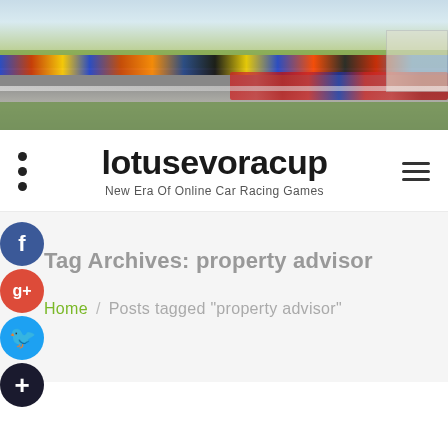[Figure (photo): Aerial/overhead view of a car racing event at a circuit, showing a long line of colorful sports cars and a crowd of people (some in red shirts) gathered near the track.]
lotusevoracup – New Era Of Online Car Racing Games
Tag Archives: property advisor
Home / Posts tagged "property advisor"